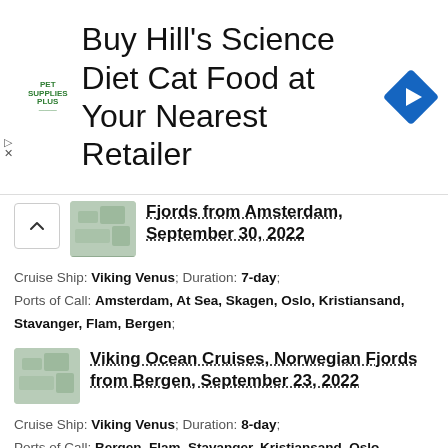[Figure (illustration): Advertisement banner: Pet Supplies Plus logo on left, large text 'Buy Hill's Science Diet Cat Food at Your Nearest Retailer', blue diamond navigation icon on right]
Fjords from Amsterdam, September 30, 2022
Cruise Ship: Viking Venus; Duration: 7-day; Ports of Call: Amsterdam, At Sea, Skagen, Oslo, Kristiansand, Stavanger, Flam, Bergen;
Viking Ocean Cruises, Norwegian Fjords from Bergen, September 23, 2022
Cruise Ship: Viking Venus; Duration: 8-day; Ports of Call: Bergen, Flam, Stavanger, Kristiansand, Oslo, Skagen, At Sea, Amsterdam;